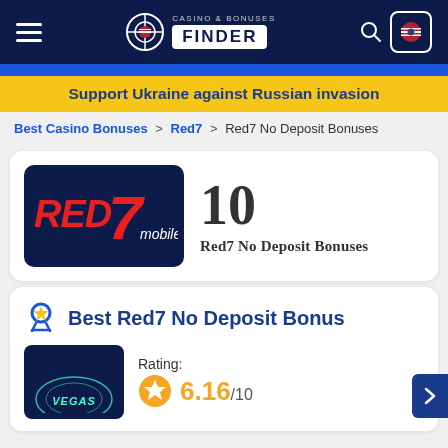Casino & Bonuses Finder
Support Ukraine against Russian invasion
Best Casino Bonuses > Red7 > Red7 No Deposit Bonuses
[Figure (logo): Red7 mobile casino logo on dark navy background]
10 Red7 No Deposit Bonuses
Best Red7 No Deposit Bonus
[Figure (screenshot): Casino thumbnail with Vegas branding on dark background]
Rating: 6.16/10